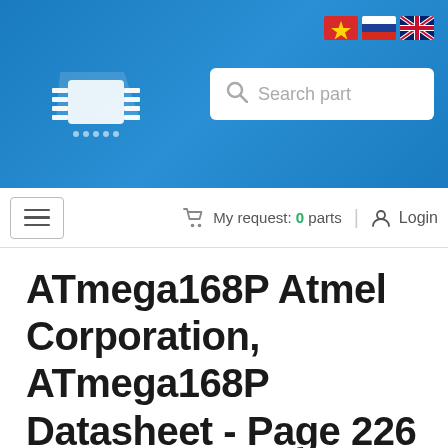[Figure (screenshot): Website header with blue background, company logo (white circuit board chip icon), search bar, language flags (Vietnamese, Russian, English), navigation bar with hamburger menu, cart and login links]
ATmega168P Atmel Corporation, ATmega168P Datasheet - Page 226
Home / Special Offers On Request / Atmel Corporation / ATmega168P